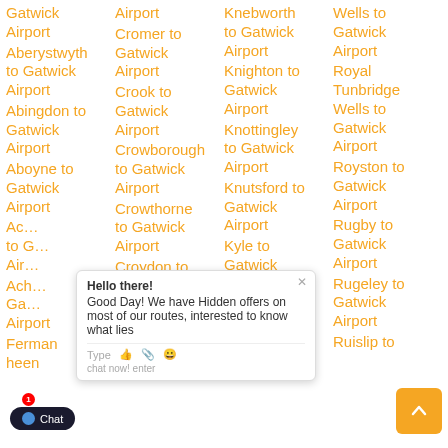Gatwick Airport
Aberystwyth to Gatwick Airport
Abingdon to Gatwick Airport
Aboyne to Gatwick Airport
Acl... to Gatwick Airport
Ach... Gatwick Airport
Fermaneen
Airport Cromer to Gatwick Airport
Crook to Gatwick Airport
Crowborough to Gatwick Airport
Crowthorne to Gatwick Airport
Croydon to Gatwick Airport
Crumlin to Gatwick
Knebworth to Gatwick Airport
Knighton to Gatwick Airport
Knottingley to Gatwick Airport
Knutsford to Gatwick Airport
Kyle to Gatwick Airport
Lairg to Gatwick Airport
Wells to Gatwick Airport
Royal Tunbridge Wells to Gatwick Airport
Royston to Gatwick Airport
Rugby to Gatwick Airport
Rugeley to Gatwick Airport
Ruislip to
[Figure (screenshot): Chat widget overlay with message 'Hello there! Good Day! We have Hidden offers on most of our routes, interested to know what lies' and a text input row with icons.]